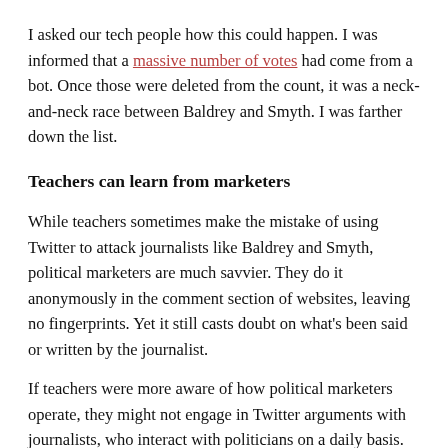I asked our tech people how this could happen. I was informed that a massive number of votes had come from a bot. Once those were deleted from the count, it was a neck-and-neck race between Baldrey and Smyth. I was farther down the list.
Teachers can learn from marketers
While teachers sometimes make the mistake of using Twitter to attack journalists like Baldrey and Smyth, political marketers are much savvier. They do it anonymously in the comment section of websites, leaving no fingerprints. Yet it still casts doubt on what's been said or written by the journalist.
If teachers were more aware of how political marketers operate, they might not engage in Twitter arguments with journalists, who interact with politicians on a daily basis. To high-profile journalists, people in the political world seem reasonable because they don't do this.